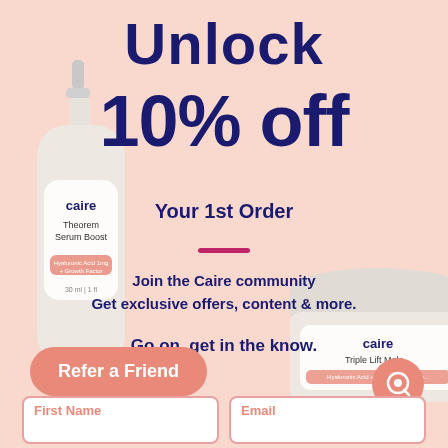Unlock
10% off
Your 1st Order
Join the Caire community
Get exclusive offers, content & more.
Go on, get in the know.
[Figure (photo): Caire Theorem Serum Boost dropper bottle product photo on pink background]
[Figure (photo): Caire Triple Lift Molecule cream jar product photo on pink background]
Refer a Friend
First Name
Email